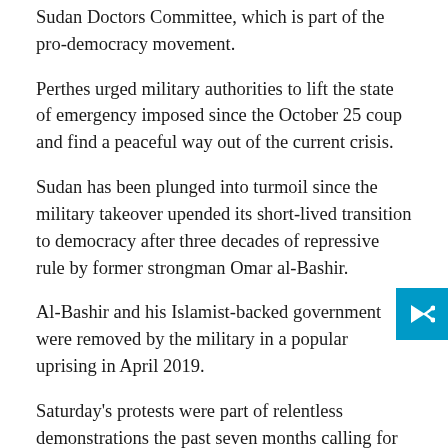Sudan Doctors Committee, which is part of the pro-democracy movement.
Perthes urged military authorities to lift the state of emergency imposed since the October 25 coup and find a peaceful way out of the current crisis.
Sudan has been plunged into turmoil since the military takeover upended its short-lived transition to democracy after three decades of repressive rule by former strongman Omar al-Bashir.
Al-Bashir and his Islamist-backed government were removed by the military in a popular uprising in April 2019.
Saturday's protests were part of relentless demonstrations the past seven months calling for the military to hand over power to civilians. At least 98 people have been killed and over 4,300 wounded in the government crackdown on anti-coup protests since October, according to the medical group.